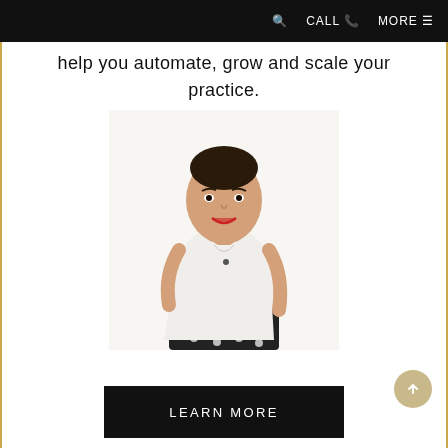🔍  CALL ☎  MORE ≡
help you automate, grow and scale your practice.
[Figure (photo): A smiling woman with dark hair pulled back, wearing a white sleeveless blouse and black polka-dot skirt, standing against a white background.]
LEARN MORE